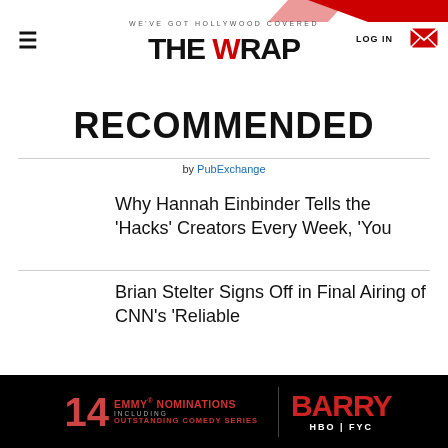THE WRAP — WE'VE GOT HOLLYWOOD COVERED
RECOMMENDED
by PubExchange
Why Hannah Einbinder Tells the 'Hacks' Creators Every Week, 'You
Brian Stelter Signs Off in Final Airing of CNN's 'Reliable
[Figure (other): Barry HBO FYC advertisement banner — 14 Emmy Nominations including Outstanding Comedy Series, Barry HBO FYC logo on black background]